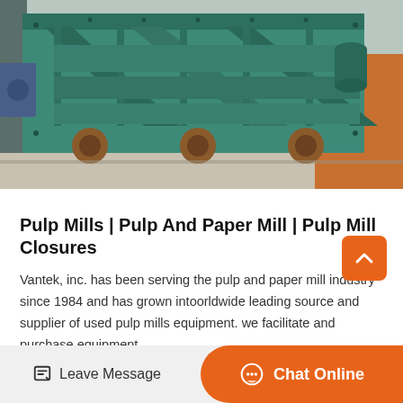[Figure (photo): Industrial green-painted heavy machinery (vibrating screen / pulp mill equipment) on wheels, photographed outdoors on a concrete surface.]
Pulp Mills | Pulp And Paper Mill | Pulp Mill Closures
Vantek, inc. has been serving the pulp and paper mill industry since 1984 and has grown intoorldwide leading source and supplier of used pulp mills equipment. we facilitate and purchase equipment...
Get Price >
Leave Message   Chat Online